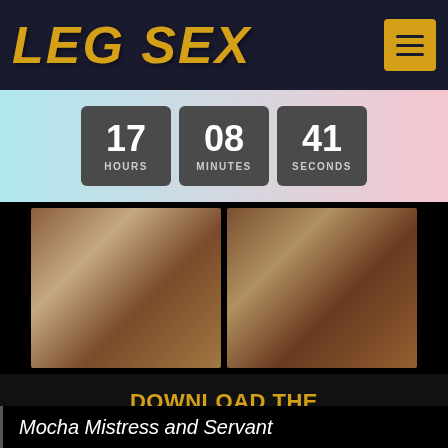LEG SEX
17 HOURS  08 MINUTES  41 SECONDS
[Figure (photo): Two cropped photos side by side showing legs/feet against a dark background]
DOWNLOAD THE COMPLETE SET OF 70 PHOTOS NOW!
JOIN NOW!
Mocha Mistress and Servant